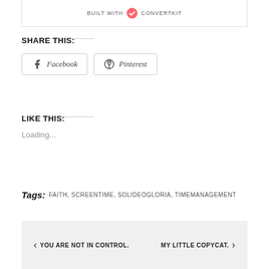[Figure (logo): ConvertKit logo with text 'BUILT WITH ConvertKit']
SHARE THIS:
Facebook  Pinterest (share buttons)
LIKE THIS:
Loading...
Tags: FAITH, SCREENTIME, SOLIDEOGLORIA, TIMEMANAGEMENT
‹ YOU ARE NOT IN CONTROL.    MY LITTLE COPYCAT. ›